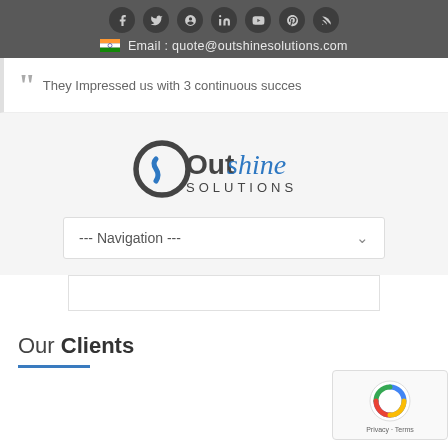Social icons and Email: quote@outshinesolutions.com
They Impressed us with 3 continuous succes
[Figure (logo): Outshine Solutions logo with stylized O and S graphic mark, text reads 'Outshine SOLUTIONS' in blue and dark grey]
--- Navigation ---
Our Clients